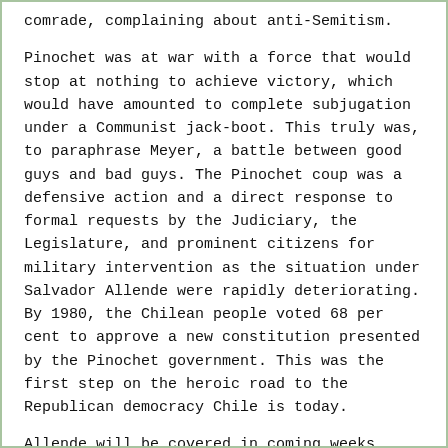comrade, complaining about anti-Semitism.
Pinochet was at war with a force that would stop at nothing to achieve victory, which would have amounted to complete subjugation under a Communist jack-boot. This truly was, to paraphrase Meyer, a battle between good guys and bad guys. The Pinochet coup was a defensive action and a direct response to formal requests by the Judiciary, the Legislature, and prominent citizens for military intervention as the situation under Salvador Allende were rapidly deteriorating. By 1980, the Chilean people voted 68 per cent to approve a new constitution presented by the Pinochet government. This was the first step on the heroic road to the Republican democracy Chile is today.
Allende will be covered in coming weeks, however, it must be pointed out that documents and arms captured after Allende was overthrown, Sept. 11, 1973 proved that he was planning a coup of his own scheduled for Sept. 19, and to liquidate his opposition Castro style. Pinochet, who had served Allende as Army Chief of Staff during his three years